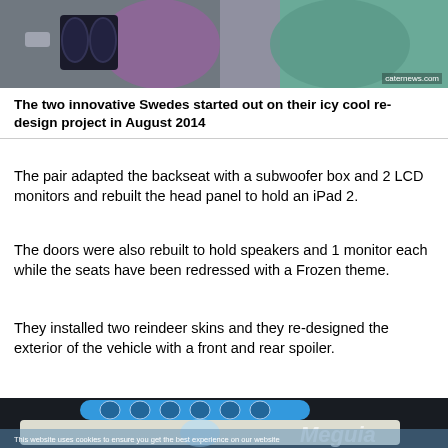[Figure (photo): Photo of two people at a car show, with a BMW grille visible, watermark 'caternews.com' in bottom right]
The two innovative Swedes started out on their icy cool re-design project in August 2014
The pair adapted the backseat with a subwoofer box and 2 LCD monitors and rebuilt the head panel to hold an iPad 2.
The doors were also rebuilt to hold speakers and 1 monitor each while the seats have been redressed with a Frozen theme.
They installed two reindeer skins and they re-designed the exterior of the vehicle with a front and rear spoiler.
[Figure (photo): Photo of a customized BMW car with blue Frozen theme, large spoiler with circular speakers on top, Elsa and other Frozen characters painted on the side, Meguiar's branding visible in background. Cookie consent overlay text visible: 'This website uses cookies to ensure you get the best experience on our website']